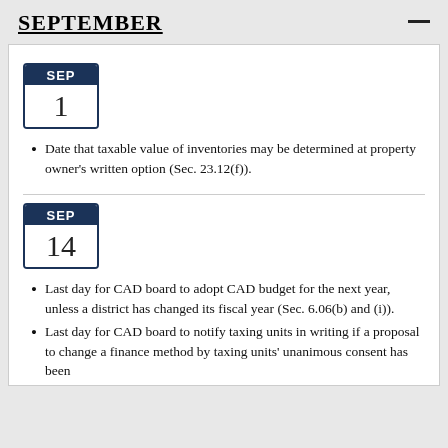SEPTEMBER
Date that taxable value of inventories may be determined at property owner's written option (Sec. 23.12(f)).
Last day for CAD board to adopt CAD budget for the next year, unless a district has changed its fiscal year (Sec. 6.06(b) and (i)).
Last day for CAD board to notify taxing units in writing if a proposal to change a finance method by taxing units' unanimous consent has been